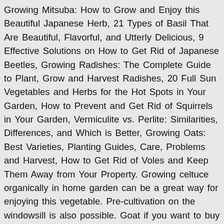Growing Mitsuba: How to Grow and Enjoy this Beautiful Japanese Herb, 21 Types of Basil That Are Beautiful, Flavorful, and Utterly Delicious, 9 Effective Solutions on How to Get Rid of Japanese Beetles, Growing Radishes: The Complete Guide to Plant, Grow and Harvest Radishes, 20 Full Sun Vegetables and Herbs for the Hot Spots in Your Garden, How to Prevent and Get Rid of Squirrels in Your Garden, Vermiculite vs. Perlite: Similarities, Differences, and Which is Better, Growing Oats: Best Varieties, Planting Guides, Care, Problems and Harvest, How to Get Rid of Voles and Keep Them Away from Your Property. Growing celtuce organically in home garden can be a great way for enjoying this vegetable. Pre-cultivation on the windowsill is also possible. Goat if you want to buy other vegetable seeds you can buy online seeds at riseagroinfra.com.Shop from an extensive variety of good quality vegetable seeds online In India high germination rate seeds. Celtuce stalks. Subscribe ROY'S FARM newsletter for news, updates and receiving notifications of new posts by email. augustana, angustata, or asparagina) is actually a variety of